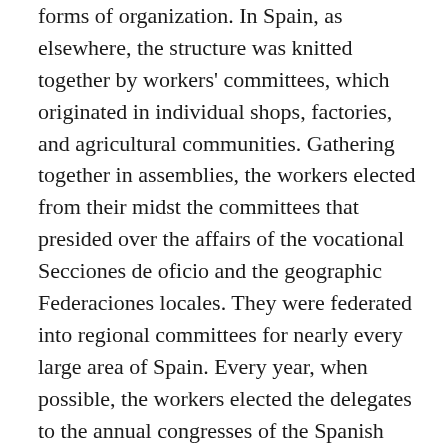forms of organization. In Spain, as elsewhere, the structure was knitted together by workers' committees, which originated in individual shops, factories, and agricultural communities. Gathering together in assemblies, the workers elected from their midst the committees that presided over the affairs of the vocational Secciones de oficio and the geographic Federaciones locales. They were federated into regional committees for nearly every large area of Spain. Every year, when possible, the workers elected the delegates to the annual congresses of the Spanish Federation of the IWMA, which in turn elected a national Federal Council. With the decline of the IWMA, syndicalist union federations surfaced and disappeared in different regions of Spain, especially Catalonia and Andalusia. The first was the rather considerable Workers' Federation of the 1880s.